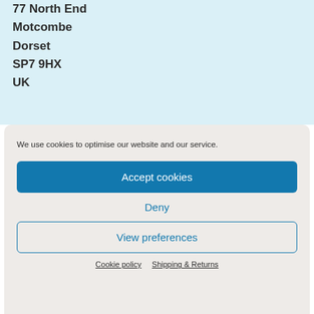77 North End
Motcombe
Dorset
SP7 9HX
UK
We use cookies to optimise our website and our service.
Accept cookies
Deny
View preferences
Cookie policy   Shipping & Returns